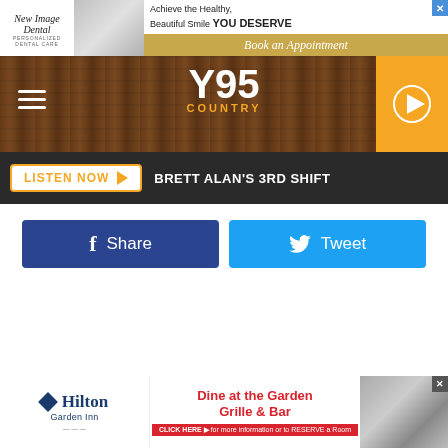[Figure (screenshot): Top banner advertisement for New Image Dental - Personalized Dental Care with dental imagery and 'Achieve the Healthy, Beautiful Smile YOU DESERVE / Book an Appointment' call to action]
[Figure (logo): Y95 Country radio station navigation bar with hamburger menu, Y95 COUNTRY logo, and orange play button]
BRETT ALAN'S 3RD SHIFT
[Figure (infographic): Facebook Share button (dark blue) and Twitter Tweet button (light blue)]
[Figure (screenshot): Bottom banner advertisement for Hilton Garden Inn - Dine at the Garden Grille & Bar with click here to reserve a room call to action]